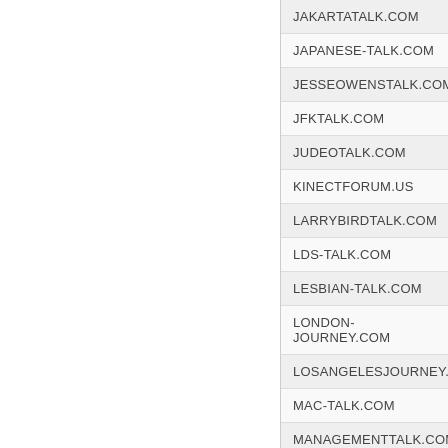JAKARTATALK.COM
JAPANESE-TALK.COM
JESSEOWENSTALK.COM
JFKTALK.COM
JUDEOTALK.COM
KINECTFORUM.US
LARRYBIRDTALK.COM
LDS-TALK.COM
LESBIAN-TALK.COM
LONDON-JOURNEY.COM
LOSANGELESJOURNEY.COM
MAC-TALK.COM
MANAGEMENTTALK.COM
MAPLELEAFSTALK.COM
MARKBRYANTTALK.COM
MAUIJOURNEY.COM